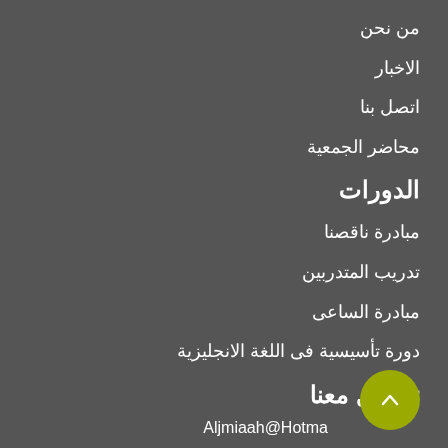من نحن
الاخبار
اتصل بنا
محاضر الجمعية
الدورات
مبادرة ناقصنا
تدريب المتدربين
مبادرة الساعى
دورة تأسيسية فى اللغة الانجليزية
تواصل معنا
Aljmiaah@Hotma